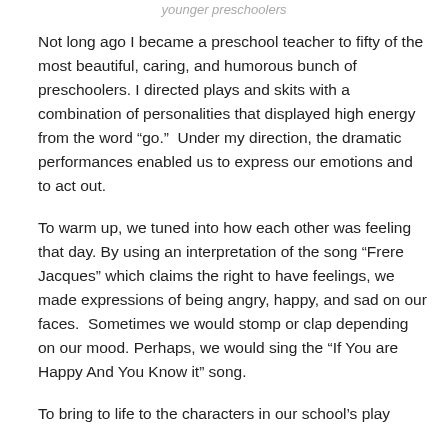younger preschoolers
Not long ago I became a preschool teacher to fifty of the most beautiful, caring, and humorous bunch of preschoolers. I directed plays and skits with a combination of personalities that displayed high energy from the word “go.”  Under my direction, the dramatic performances enabled us to express our emotions and to act out.
To warm up, we tuned into how each other was feeling that day. By using an interpretation of the song “Frere Jacques” which claims the right to have feelings, we made expressions of being angry, happy, and sad on our faces.  Sometimes we would stomp or clap depending on our mood. Perhaps, we would sing the “If You are Happy And You Know it” song.
To bring to life to the characters in our school’s play